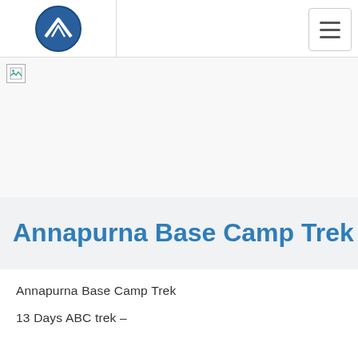Annapurna Base Camp Trek - navigation header with logo and hamburger menu
[Figure (photo): Hero banner image - broken/unloaded image placeholder for Annapurna Base Camp Trek]
Annapurna Base Camp Trek
Annapurna Base Camp Trek
13 Days ABC trek –